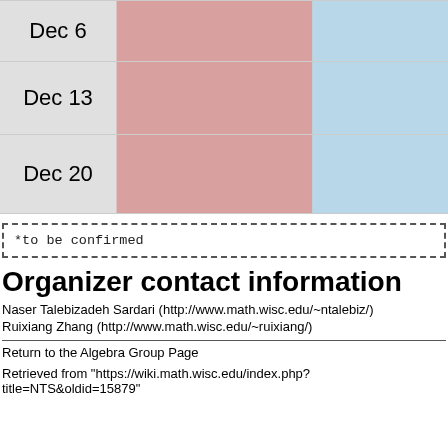| Date | Col1 | Col2 |
| --- | --- | --- |
| Dec 6 |  |  |
| Dec 13 |  |  |
| Dec 20 |  |  |
*to be confirmed
Organizer contact information
Naser Talebizadeh Sardari (http://www.math.wisc.edu/~ntalebiz/)
Ruixiang Zhang (http://www.math.wisc.edu/~ruixiang/)
Return to the Algebra Group Page
Retrieved from "https://wiki.math.wisc.edu/index.php?title=NTS&oldid=15879"